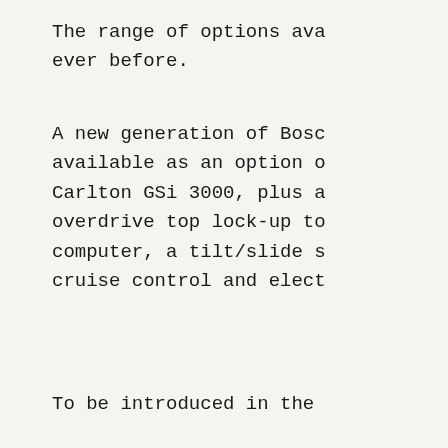The range of options ava ever before.
A new generation of Bosc available as an option o Carlton GSi 3000, plus a overdrive top lock-up to computer, a tilt/slide s cruise control and elect
To be introduced in the